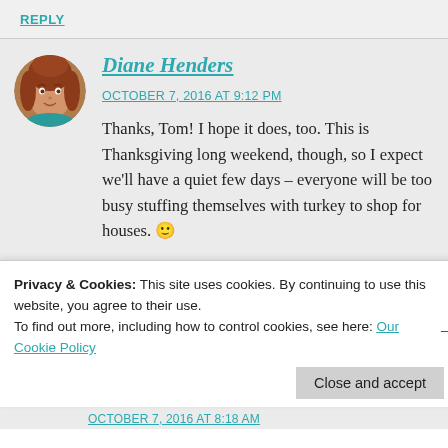REPLY
Diane Henders
OCTOBER 7, 2016 AT 9:12 PM
Thanks, Tom! I hope it does, too. This is Thanksgiving long weekend, though, so I expect we'll have a quiet few days – everyone will be too busy stuffing themselves with turkey to shop for houses. 🙂
Privacy & Cookies: This site uses cookies. By continuing to use this website, you agree to their use.
To find out more, including how to control cookies, see here: Our Cookie Policy
Close and accept
OCTOBER 7, 2016 AT 8:18 AM